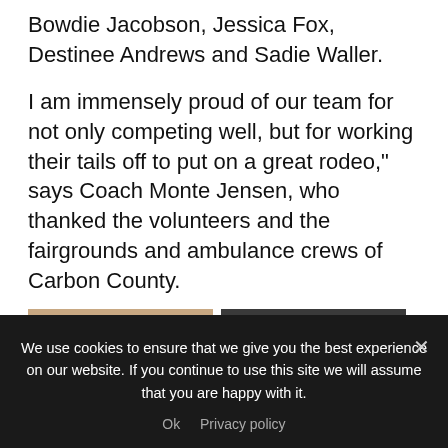Bowdie Jacobson, Jessica Fox, Destinee Andrews and Sadie Waller.
I am immensely proud of our team for not only competing well, but for working their tails off to put on a great rodeo," says Coach Monte Jensen, who thanked the volunteers and the fairgrounds and ambulance crews of Carbon County.
[Figure (photo): A rodeo competitor wrestling/working with a calf on muddy ground, wearing a vest and jeans.]
[Figure (photo): A rodeo barrel racer on horseback at speed near a barrel, with CINCH and TrailsWest signage visible in the background arena.]
We use cookies to ensure that we give you the best experience on our website. If you continue to use this site we will assume that you are happy with it.
Ok   Privacy policy